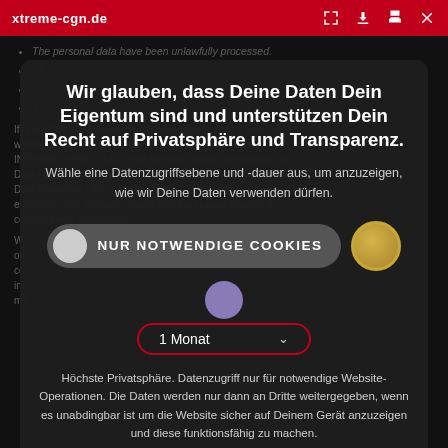xtreme-cgn.de
Wir glauben, dass Deine Daten Dein Eigentum sind und unterstützen Dein Recht auf Privatsphäre und Transparenz.
Wähle eine Datenzugriffsebene und -dauer aus, um anzuzeigen, wie wir Deine Daten verwenden dürfen.
NUR NOTWENDIGE COOKIES
1 Monat
Höchste Privatsphäre. Datenzugriff nur für notwendige Website-Operationen. Die Daten werden nur dann an Dritte weitergegeben, wenn es unabdingbar ist um die Website sicher auf Deinem Gerät anzuzeigen und diese funktionsfähig zu machen.